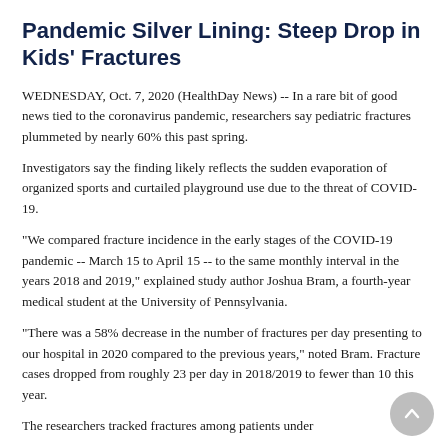Pandemic Silver Lining: Steep Drop in Kids' Fractures
WEDNESDAY, Oct. 7, 2020 (HealthDay News) -- In a rare bit of good news tied to the coronavirus pandemic, researchers say pediatric fractures plummeted by nearly 60% this past spring.
Investigators say the finding likely reflects the sudden evaporation of organized sports and curtailed playground use due to the threat of COVID-19.
"We compared fracture incidence in the early stages of the COVID-19 pandemic -- March 15 to April 15 -- to the same monthly interval in the years 2018 and 2019," explained study author Joshua Bram, a fourth-year medical student at the University of Pennsylvania.
"There was a 58% decrease in the number of fractures per day presenting to our hospital in 2020 compared to the previous years," noted Bram. Fracture cases dropped from roughly 23 per day in 2018/2019 to fewer than 10 this year.
The researchers tracked fractures among patients under